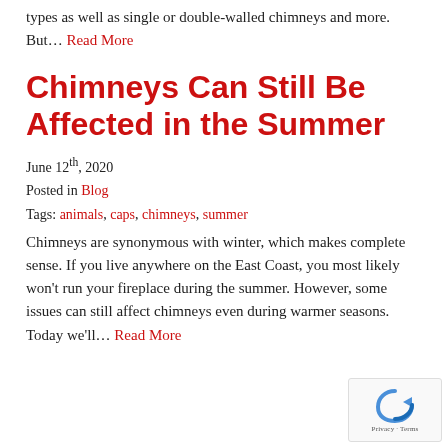types as well as single or double-walled chimneys and more. But… Read More
Chimneys Can Still Be Affected in the Summer
June 12th, 2020
Posted in Blog
Tags: animals, caps, chimneys, summer
Chimneys are synonymous with winter, which makes complete sense. If you live anywhere on the East Coast, you most likely won't run your fireplace during the summer. However, some issues can still affect chimneys even during warmer seasons. Today we'll… Read More
[Figure (other): reCAPTCHA privacy widget with rotating arrows icon and Privacy · Terms footer]